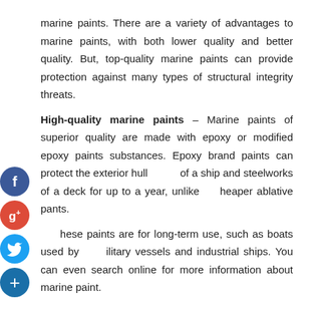marine paints. There are a variety of advantages to marine paints, with both lower quality and better quality. But, top-quality marine paints can provide protection against many types of structural integrity threats.
High-quality marine paints – Marine paints of superior quality are made with epoxy or modified epoxy paints substances. Epoxy brand paints can protect the exterior hull of a ship and steelworks of a deck for up to a year, unlike cheaper ablative pants.
These paints are for long-term use, such as boats used by military vessels and industrial ships. You can even search online for more information about marine paint.